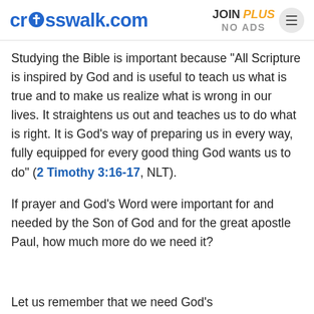crosswalk.com | JOIN PLUS NO ADS
Studying the Bible is important because "All Scripture is inspired by God and is useful to teach us what is true and to make us realize what is wrong in our lives. It straightens us out and teaches us to do what is right. It is God’s way of preparing us in every way, fully equipped for every good thing God wants us to do" (2 Timothy 3:16-17, NLT).
If prayer and God’s Word were important for and needed by the Son of God and for the great apostle Paul, how much more do we need it?
Let us...